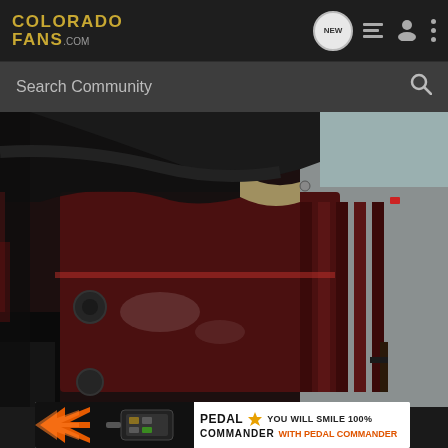[Figure (logo): ColoradoFans.com logo in gold/yellow on dark background]
Search Community
[Figure (photo): Close-up photo of a dark red/maroon engine bay or automotive component, possibly an engine cover with ribbed surfaces and bolts, partially illuminated]
[Figure (other): Pedal Commander advertisement banner - black background with orange chevron arrows, Pedal Commander device image, PEDAL COMMANDER logo with star, text: YOU WILL SMILE 100% WITH PEDAL COMMANDER]